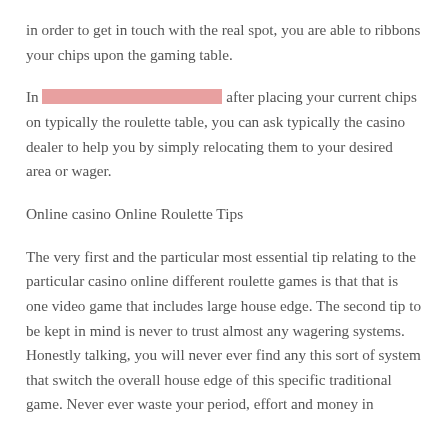in order to get in touch with the real spot, you are able to ribbons your chips upon the gaming table.
In [REDACTED] after placing your current chips on typically the roulette table, you can ask typically the casino dealer to help you by simply relocating them to your desired area or wager.
Online casino Online Roulette Tips
The very first and the particular most essential tip relating to the particular casino online different roulette games is that that is one video game that includes large house edge. The second tip to be kept in mind is never to trust almost any wagering systems. Honestly talking, you will never ever find any this sort of system that switch the overall house edge of this specific traditional game. Never ever waste your period, effort and money in